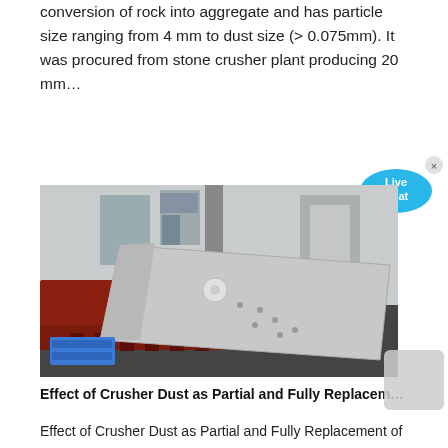conversion of rock into aggregate and has particle size ranging from 4 mm to dust size (> 0.075mm). It was procured from stone crusher plant producing 20 mm…
[Figure (photo): Industrial photo of a stone crusher / vibrating screen machine. Shows a large red and silver metal framework with a tilted silver metal chute/conveyor structure on a dark floor. Blue plastic pallet visible in the background on the left, industrial building interior visible.]
Effect of Crusher Dust as Partial and Fully Replacem…
Effect of Crusher Dust as Partial and Fully Replacement of